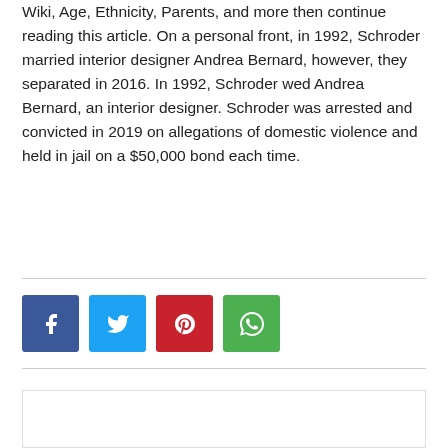Wiki, Age, Ethnicity, Parents, and more then continue reading this article. On a personal front, in 1992, Schroder married interior designer Andrea Bernard, however, they separated in 2016. In 1992, Schroder wed Andrea Bernard, an interior designer. Schroder was arrested and convicted in 2019 on allegations of domestic violence and held in jail on a $50,000 bond each time.
[Figure (other): Social share buttons: Facebook (blue), Twitter (light blue), Pinterest (red), WhatsApp (green)]